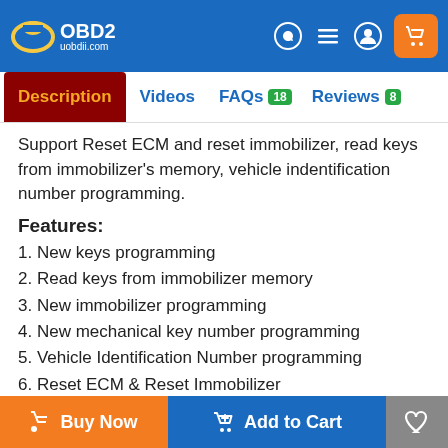VOBD2 uobdii.com
Description | Videos | FAQs 18 | Reviews 8
Support Reset ECM and reset immobilizer, read keys from immobilizer's memory, vehicle indentification number programming.
Features:
1. New keys programming
2. Read keys from immobilizer memory
3. New immobilizer programming
4. New mechanical key number programming
5. Vehicle Identification Number programming
6. Reset ECM & Reset Immobilizer
7. Easy to operate by guiding menu programming
8. New remote controller programming
Buy Now | Add to Cart | Wishlist